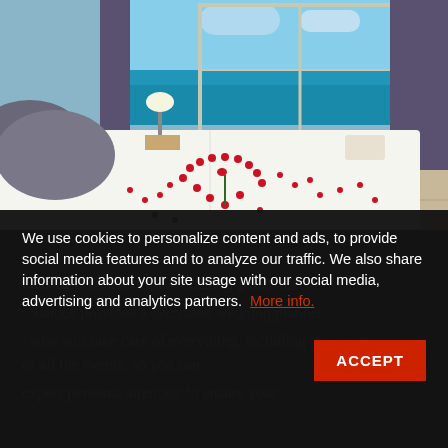[Figure (photo): Hotel bedroom with white bed decorated with red rose petals arranged in a heart shape, gray pillows, a lamp, and large windows overlooking a tropical beach with turquoise water]
We use cookies to personalize content and ads, to provide social media features and to analyze our traffic. We also share information about your site usage with our social media, advertising and analytics partners. More info.
...dedicated wedding planner who will take care of everything, including the organization of all the events, so you can expect personal attention to ensure your